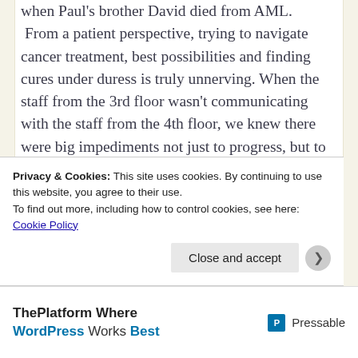when Paul's brother David died from AML. From a patient perspective, trying to navigate cancer treatment, best possibilities and finding cures under duress is truly unnerving. When the staff from the 3rd floor wasn't communicating with the staff from the 4th floor, we knew there were big impediments not just to progress, but to survival.
Obviously, we've learned more in the last 2 years. We have a better picture of both the talents, intelligence and compassion of the
Privacy & Cookies: This site uses cookies. By continuing to use this website, you agree to their use.
To find out more, including how to control cookies, see here: Cookie Policy
Close and accept
ThePlatform Where WordPress Works Best | Pressable